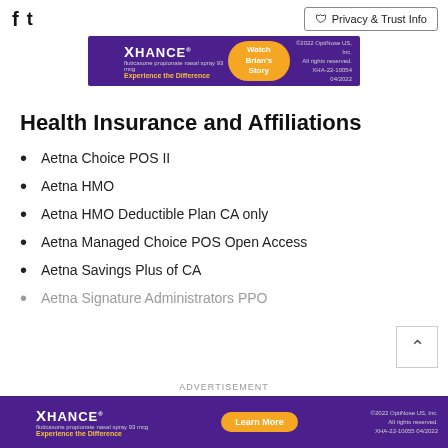Facebook Twitter | Privacy & Trust Info
[Figure (photo): XHANCE advertisement banner at top: purple background, Watch Brian's Story CTA button, Experience the Difference tagline, XHA-22-10054 04/2022]
Health Insurance and Affiliations
Aetna Choice POS II
Aetna HMO
Aetna HMO Deductible Plan CA only
Aetna Managed Choice POS Open Access
Aetna Savings Plus of CA
Aetna Signature Administrators PPO
ADVERTISEMENT
[Figure (photo): XHANCE advertisement banner at bottom: purple background, Learn More CTA button, Experience the Difference tagline, XHA-22-10055 04/2022]